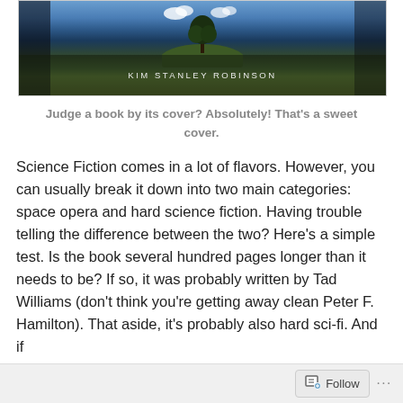[Figure (photo): Book cover image showing a lone tree on a hilltop against a cloudy sky, with 'KIM STANLEY ROBINSON' text at the bottom]
Judge a book by its cover? Absolutely! That's a sweet cover.
Science Fiction comes in a lot of flavors. However, you can usually break it down into two main categories: space opera and hard science fiction. Having trouble telling the difference between the two? Here's a simple test. Is the book several hundred pages longer than it needs to be? If so, it was probably written by Tad Williams (don't think you're getting away clean Peter F. Hamilton). That aside, it's probably also hard sci-fi. And if
Follow ...